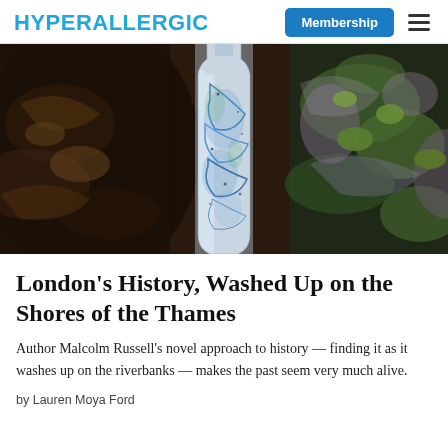HYPERALLERGIC
[Figure (photo): A weathered glass bottle with blue swirling patterns, surrounded by dark rocks and green moss, found on the Thames riverbank.]
London's History, Washed Up on the Shores of the Thames
Author Malcolm Russell's novel approach to history — finding it as it washes up on the riverbanks — makes the past seem very much alive.
by Lauren Moya Ford